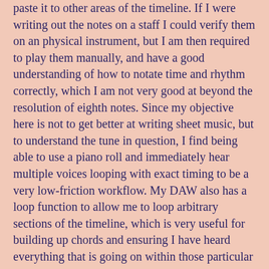paste it to other areas of the timeline. If I were writing out the notes on a staff I could verify them on an physical instrument, but I am then required to play them manually, and have a good understanding of how to notate time and rhythm correctly, which I am not very good at beyond the resolution of eighth notes. Since my objective here is not to get better at writing sheet music, but to understand the tune in question, I find being able to use a piano roll and immediately hear multiple voices looping with exact timing to be a very low-friction workflow. My DAW also has a loop function to allow me to loop arbitrary sections of the timeline, which is very useful for building up chords and ensuring I have heard everything that is going on within those particular bars.
Using a DAW also makes it easy to change things and move them around. I can add a new track for a new voice whenever I want, so I am not required to identify all parts up front.
My DAW of choice (Bitwig Studio) allows me to insert